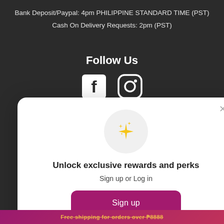Bank Deposit/Paypal: 4pm PHILIPPINE STANDARD TIME (PST)
Cash On Delivery Requests: 2pm (PST)
Follow Us
[Figure (illustration): Facebook and Instagram social media icons in white on dark background]
[Figure (illustration): Modal popup with sparkle icon, unlock exclusive rewards and perks sign up or log in prompt with sign up button and sign in link]
Unlock exclusive rewards and perks
Sign up or Log in
Sign up
Already have an account? Sign in
Free shipping for orders over ₱8888